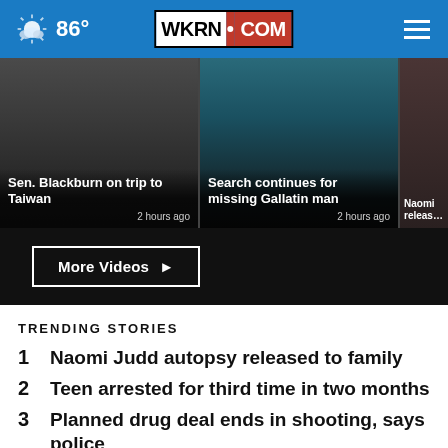86° WKRN.COM
[Figure (screenshot): Video thumbnail: Sen. Blackburn on trip to Taiwan, 2 hours ago]
[Figure (screenshot): Video thumbnail: Search continues for missing Gallatin man, 2 hours ago]
[Figure (screenshot): Video thumbnail: Naomi (partial, clipped), release...]
More Videos ▶
TRENDING STORIES
1  Naomi Judd autopsy released to family
2  Teen arrested for third time in two months
3  Planned drug deal ends in shooting, says police